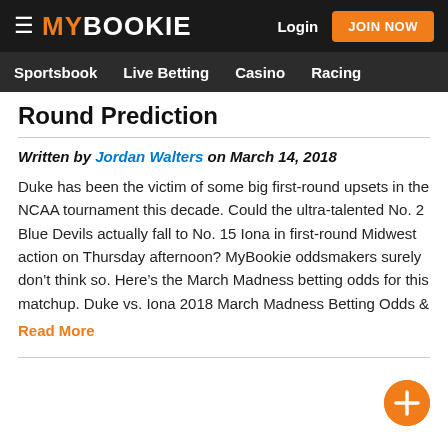MYBOOKIE | Login | JOIN NOW
Sportsbook   Live Betting   Casino   Racing
Round Prediction
Written by Jordan Walters on March 14, 2018
Duke has been the victim of some big first-round upsets in the NCAA tournament this decade. Could the ultra-talented No. 2 Blue Devils actually fall to No. 15 Iona in first-round Midwest action on Thursday afternoon? MyBookie oddsmakers surely don’t think so. Here’s the March Madness betting odds for this matchup. Duke vs. Iona 2018 March Madness Betting Odds & Read More